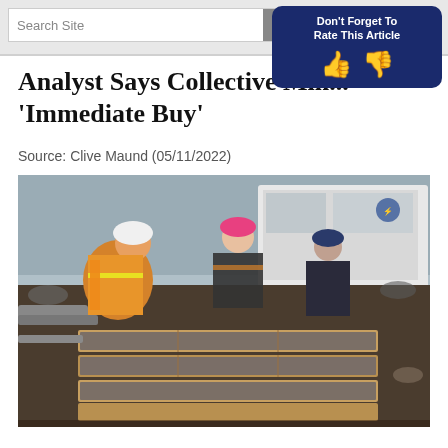Search Site
[Figure (other): Don't Forget To Rate This Article box with thumbs up and thumbs down icons on dark blue background]
Analyst Says Collective Min... 'Immediate Buy'
Source: Clive Maund (05/11/2022)
[Figure (photo): Mining site photo showing three workers in hard hats and safety vests examining core samples in wooden trays outdoors with a white container/trailer in background]